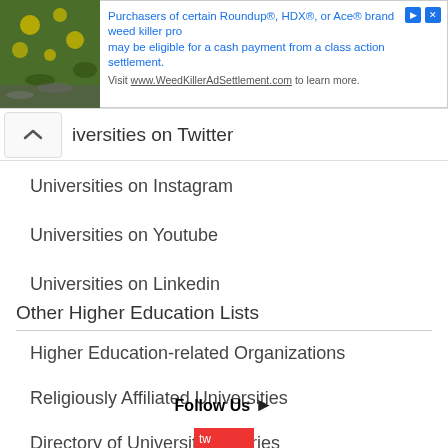[Figure (other): Advertisement banner: Roundup/HDX/Ace weed killer class action settlement ad with plant image]
Universities on Twitter
Universities on Instagram
Universities on Youtube
Universities on Linkedin
Other Higher Education Lists
Higher Education-related Organizations
Religiously Affiliated Universities
Directory of University Libraries
A-Z List of World Universities
Follow Us ▶